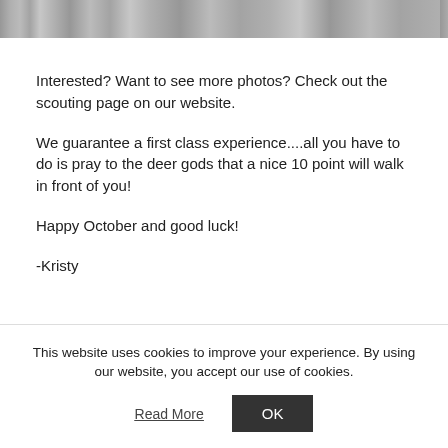[Figure (photo): A horizontal image strip at the top of the page showing what appears to be an outdoor/nature scene, partially cropped.]
Interested? Want to see more photos? Check out the scouting page on our website.
We guarantee a first class experience....all you have to do is pray to the deer gods that a nice 10 point will walk in front of you!
Happy October and good luck!
-Kristy
This website uses cookies to improve your experience. By using our website, you accept our use of cookies. Read More  OK